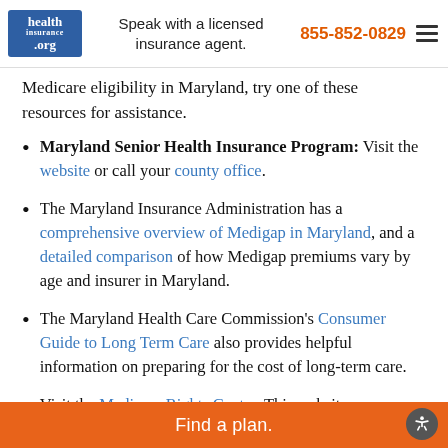health insurance .org | Speak with a licensed insurance agent. | 855-852-0829
Medicare eligibility in Maryland, try one of these resources for assistance.
Maryland Senior Health Insurance Program: Visit the website or call your county office.
The Maryland Insurance Administration has a comprehensive overview of Medigap in Maryland, and a detailed comparison of how Medigap premiums vary by age and insurer in Maryland.
The Maryland Health Care Commission's Consumer Guide to Long Term Care also provides helpful information on preparing for the cost of long-term care.
Visit the Medicare Rights Center. This website
Find a plan.